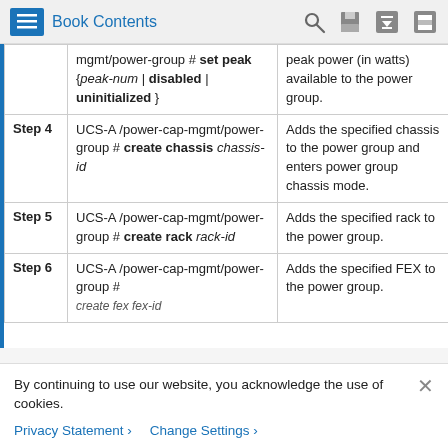Book Contents
|  | Command | Purpose |
| --- | --- | --- |
|  | mgmt/power-group # set peak {peak-num | disabled | uninitialized } | peak power (in watts) available to the power group. |
| Step 4 | UCS-A /power-cap-mgmt/power-group # create chassis chassis-id | Adds the specified chassis to the power group and enters power group chassis mode. |
| Step 5 | UCS-A /power-cap-mgmt/power-group # create rack rack-id | Adds the specified rack to the power group. |
| Step 6 | UCS-A /power-cap-mgmt/power-group # create fex fex-id | Adds the specified FEX to the power group. |
By continuing to use our website, you acknowledge the use of cookies.
Privacy Statement > Change Settings >